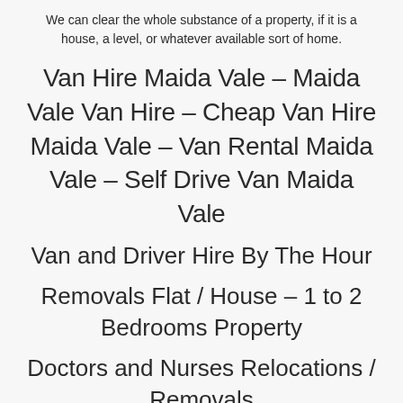We can clear the whole substance of a property, if it is a house, a level, or whatever available sort of home.
Van Hire Maida Vale – Maida Vale Van Hire – Cheap Van Hire Maida Vale – Van Rental Maida Vale – Self Drive Van Maida Vale
Van and Driver Hire By The Hour
Removals Flat / House – 1 to 2 Bedrooms Property
Doctors and Nurses Relocations / Removals
Student Moves